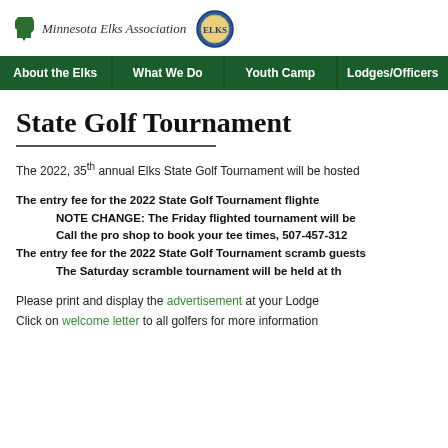Minnesota Elks Association
About the Elks | What We Do | Youth Camp | Lodges/Officers
State Golf Tournament
The 2022, 35th annual Elks State Golf Tournament will be hosted
The entry fee for the 2022 State Golf Tournament flighte
NOTE CHANGE: The Friday flighted tournament will be
Call the pro shop to book your tee times, 507-457-312
The entry fee for the 2022 State Golf Tournament scramb guests
The Saturday scramble tournament will be held at th
Please print and display the advertisement at your Lodge
Click on welcome letter to all golfers for more information